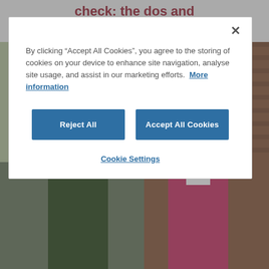check: the dos and don'ts
[Figure (photo): Two women in conversation: one with dark hair seen from behind, the other an older woman with white/blonde hair wearing a pink jacket, smiling, against a brick wall background.]
By clicking “Accept All Cookies”, you agree to the storing of cookies on your device to enhance site navigation, analyse site usage, and assist in our marketing efforts.  More information
Reject All
Accept All Cookies
Cookie Settings